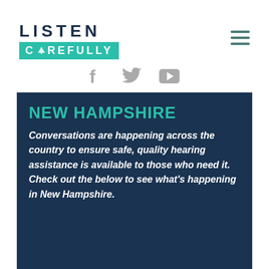[Figure (logo): Listen Carefully logo with teal background on CAREFULLY text and hamburger menu icon]
[Figure (infographic): Social media icons: Facebook, Twitter, YouTube in gray]
NEW HAMPSHIRE
Conversations are happening across the country to ensure safe, quality hearing assistance is available to those who need it. Check out the below to see what's happening in New Hampshire.